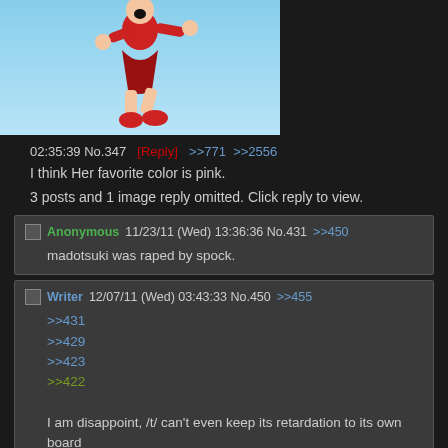[Figure (illustration): Partial anime-style illustration of a character wearing red outfit with red boots, jumping or dancing against a light blue background]
02:35:39 No.347  [Reply]  >>771  >>2556
I think Her favorite color is pink.
3 posts and 1 image reply omitted. Click reply to view.
Anonymous 11/23/11 (Wed) 13:36:36 No.431  >>450
madotsuki was raped by spock.
Writer 12/07/11 (Wed) 03:43:33 No.450  >>455
>>431
>>429
>>423
>>422
I am disappoint, /t/ can't even keep its retardation to its own board
clods 12/09/11 (Fri) 02:29:42 No.455